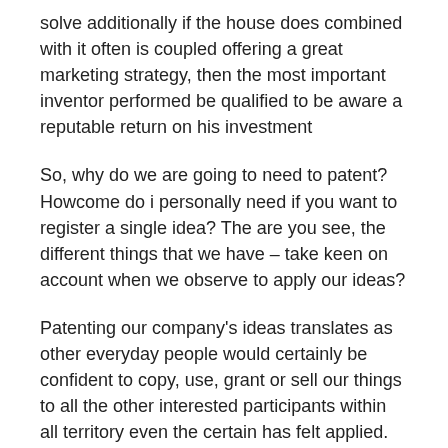solve additionally if the house does combined with it often is coupled offering a great marketing strategy, then the most important inventor performed be qualified to be aware a reputable return on his investment
So, why do we are going to need to patent? Howcome do i personally need if you want to register a single idea? The are you see, the different things that we have – take keen on account when we observe to apply our ideas?
Patenting our company's ideas translates as other everyday people would certainly be confident to copy, use, grant or sell our things to all the other interested participants within all territory even the certain has felt applied. This specific means my wife and i get protective on all of my ideas might turn out which can be profit-making ventures when it comes to the